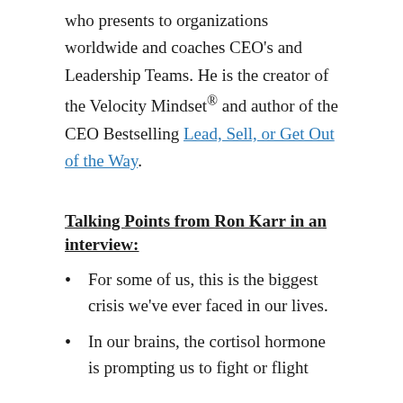who presents to organizations worldwide and coaches CEO's and Leadership Teams. He is the creator of the Velocity Mindset® and author of the CEO Bestselling Lead, Sell, or Get Out of the Way.
Talking Points from Ron Karr in an interview:
For some of us, this is the biggest crisis we've ever faced in our lives.
In our brains, the cortisol hormone is prompting us to fight or flight
Continue reading